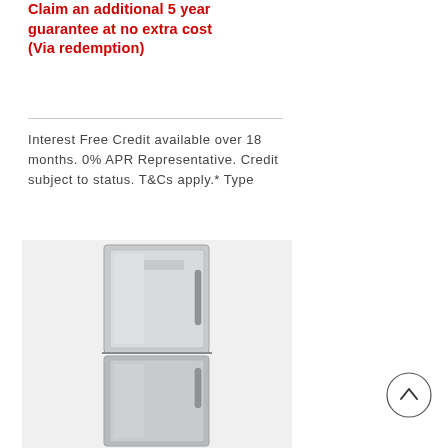Claim an additional 5 year guarantee at no extra cost (Via redemption)
Interest Free Credit available over 18 months. 0% APR Representative. Credit subject to status. T&Cs apply.* Type
[Figure (photo): A silver/stainless steel freestanding fridge-freezer appliance shown against a light grey background]